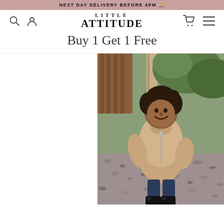NEXT DAY DELIVERY BEFORE 4PM 🚚
LITTLE ATTITUDE
Buy 1 Get 1 Free
[Figure (photo): Young child smiling wearing a tan/camel teddy bear fleece coat with dark jeans and black patent boots, standing on a gravel path with greenery and a fence in the background.]